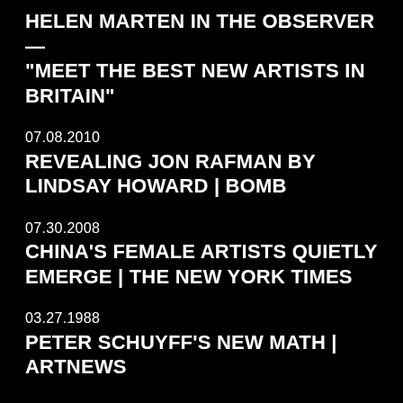HELEN MARTEN IN THE OBSERVER — "MEET THE BEST NEW ARTISTS IN BRITAIN"
07.08.2010
REVEALING JON RAFMAN BY LINDSAY HOWARD | BOMB
07.30.2008
CHINA'S FEMALE ARTISTS QUIETLY EMERGE | THE NEW YORK TIMES
03.27.1988
PETER SCHUYFF'S NEW MATH | ARTNEWS